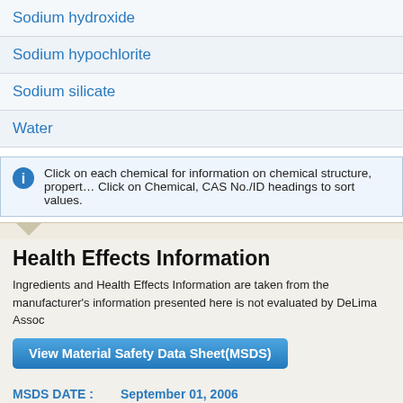Sodium hydroxide
Sodium hypochlorite
Sodium silicate
Water
Click on each chemical for information on chemical structure, properties. Click on Chemical, CAS No./ID headings to sort values.
Health Effects Information
Ingredients and Health Effects Information are taken from the manufacturer's information presented here is not evaluated by DeLima Assoc
View Material Safety Data Sheet(MSDS)
MSDS DATE :   September 01, 2006